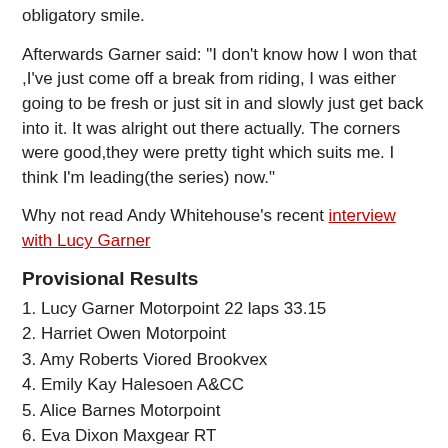obligatory smile.
Afterwards Garner said: "I don't know how I won that ,I've just come off a break from riding, I was either going to be fresh or just sit in and slowly just get back into it. It was alright out there actually. The corners were good,they were pretty tight which suits me. I think I'm leading(the series) now."
Why not read Andy Whitehouse's recent interview with Lucy Garner
Provisional Results
1. Lucy Garner Motorpoint 22 laps 33.15
2. Harriet Owen Motorpoint
3. Amy Roberts Viored Brookvex
4. Emily Kay Halesoen A&CC
5. Alice Barnes Motorpoint
6. Eva Dixon Maxgear RT